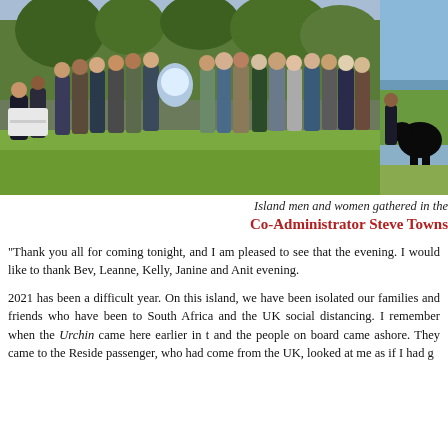[Figure (photo): Outdoor gathering of island men and women on a lawn with trees in the background — main photo]
[Figure (photo): Partial side photo showing a person and a black animal near a coastal landscape]
Island men and women gathered in the
Co-Administrator Steve Towns
"Thank you all for coming tonight, and I am pleased to see that the evening. I would like to thank Bev, Leanne, Kelly, Janine and Anit evening.
2021 has been a difficult year. On this island, we have been isolated our families and friends who have been to South Africa and the UK social distancing. I remember when the Urchin came here earlier in t and the people on board came ashore. They came to the Reside passenger, who had come from the UK, looked at me as if I had g